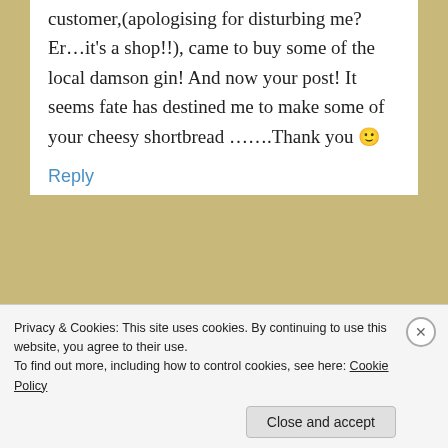customer,(apologising for disturbing me? Er…it's a shop!!), came to buy some of the local damson gin! And now your post! It seems fate has destined me to make some of your cheesy shortbread …….Thank you 🙂
Reply
FromageHomage
April 8, 2014 at 1:37 pm
You can't fight destiny! Cheesy biscuits with gin it must be 😉
Privacy & Cookies: This site uses cookies. By continuing to use this website, you agree to their use.
To find out more, including how to control cookies, see here: Cookie Policy
Close and accept